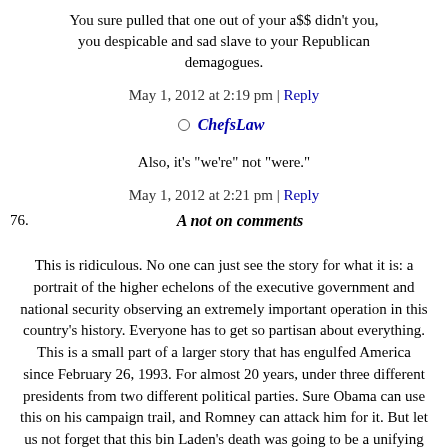You sure pulled that one out of your a$$ didn't you, you despicable and sad slave to your Republican demagogues.
May 1, 2012 at 2:19 pm | Reply
ChefsLaw
Also, it's "we're" not "were."
May 1, 2012 at 2:21 pm | Reply
76. A not on comments
This is ridiculous. No one can just see the story for what it is: a portrait of the higher echelons of the executive government and national security observing an extremely important operation in this country's history. Everyone has to get so partisan about everything. This is a small part of a larger story that has engulfed America since February 26, 1993. For almost 20 years, under three different presidents from two different political parties. Sure Obama can use this on his campaign trail, and Romney can attack him for it. But let us not forget that this bin Laden's death was going to be a unifying moment no matter who was in office. Instead everyone decides to post about THIER political opinion and not about the story itself. This is why I listen to NPR,